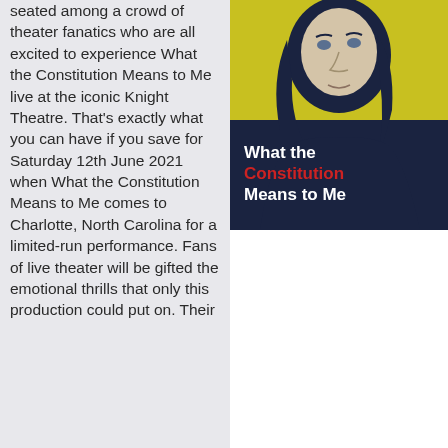seated among a crowd of theater fanatics who are all excited to experience What the Constitution Means to Me live at the iconic Knight Theatre. That's exactly what you can have if you save for Saturday 12th June 2021 when What the Constitution Means to Me comes to Charlotte, North Carolina for a limited-run performance. Fans of live theater will be gifted the emotional thrills that only this production could put on. Their
[Figure (illustration): Poster for 'What the Constitution Means to Me' showing a woman with dark hair against a yellow-green background. Text reads 'What the Constitution Means to Me' with 'Constitution' in red and the rest in white, on a dark navy lower portion.]